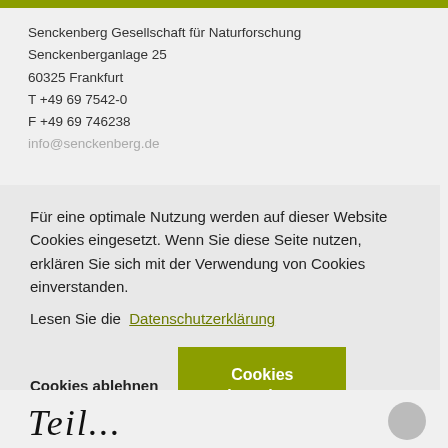Senckenberg Gesellschaft für Naturforschung
Senckenberganlage 25
60325 Frankfurt
T +49 69 7542-0
F +49 69 746238
info@senckenberg.de
Für eine optimale Nutzung werden auf dieser Website Cookies eingesetzt. Wenn Sie diese Seite nutzen, erklären Sie sich mit der Verwendung von Cookies einverstanden.
Lesen Sie die  Datenschutzerklärung
Cookies ablehnen
Cookies akzeptieren